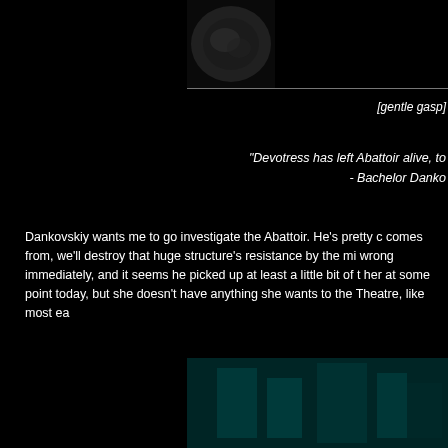[Figure (photo): Small dark image at top center, appears to be a stone or textured surface]
[gentle gasp]
"Devotress has left Abattoir alive, to
 - Bachelor Danko
Dankovskiy wants me to go investigate the Abattoir. He's pretty c comes from, we'll destroy that huge structure's resistance by the mi wrong immediately, and it seems he picked up at least a little bit of t her at some point today, but she doesn't have anything she wants to the Theatre, like most ea
"You, in fact, have made a panacea! So, t
 - Eve Yahn.
An arsonist I found strewn across the cobblestones on my
"Let it be so. It's not the end of the w
[Figure (photo): Dark teal/green image at bottom right, appears to show a interior scene with greenish lighting]